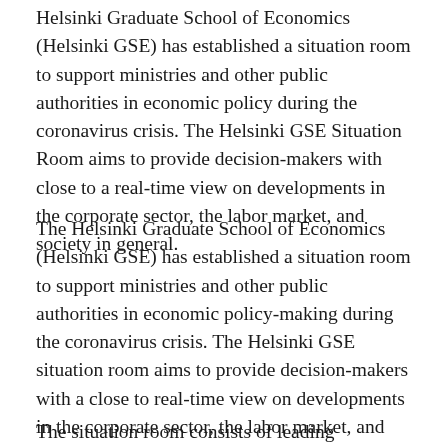Helsinki Graduate School of Economics (Helsinki GSE) has established a situation room to support ministries and other public authorities in economic policy during the coronavirus crisis. The Helsinki GSE Situation Room aims to provide decision-makers with close to a real-time view on developments in the corporate sector, the labor market, and society in general.
The Helsinki Graduate School of Economics (Helsinki GSE) has established a situation room to support ministries and other public authorities in economic policy-making during the coronavirus crisis. The Helsinki GSE situation room aims to provide decision-makers with a close to real-time view on developments in the corporate sector, the labor market, and society in general.
The situation room consists of leading economists t...